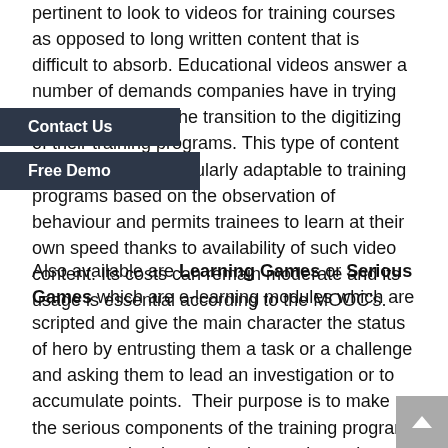pertinent to look to videos for training courses as opposed to long written content that is difficult to absorb. Educational videos answer a number of demands companies have in trying to better manage the transition to the digitizing of their training programs. This type of content is intuitive and particularly adaptable to training programs based on the observation of behaviour and permits trainees to learn at their own speed thanks to availability of such video content. Its costs can remain moderate and its usage is essential according to the MOOC's.
Also available are Learning Games or Serious Games which are e-learning modules which are scripted and give the main character the status of hero by entrusting them a task or a challenge and asking them to lead an investigation or to accumulate points. Their purpose is to make the serious components of the training program more attractive through an interaction, rules and eventually intuitive objectives. Entertaining and user-friendly, the